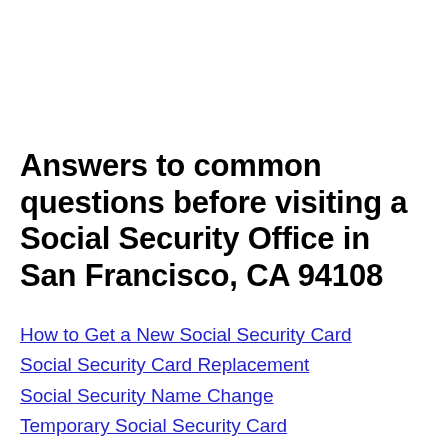Answers to common questions before visiting a Social Security Office in San Francisco, CA 94108
How to Get a New Social Security Card
Social Security Card Replacement
Social Security Name Change
Temporary Social Security Card
Common Social Security Scams